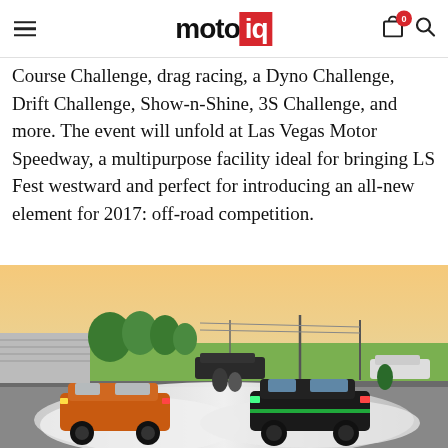motoiq
Course Challenge, drag racing, a Dyno Challenge, Drift Challenge, Show-n-Shine, 3S Challenge, and more. The event will unfold at Las Vegas Motor Speedway, a multipurpose facility ideal for bringing LS Fest westward and perfect for introducing an all-new element for 2017: off-road competition.
[Figure (photo): Two drift cars competing on a track surrounded by tire smoke; an orange car on the left and a dark car on the right, with spectators and other vehicles visible in the background at sunset.]